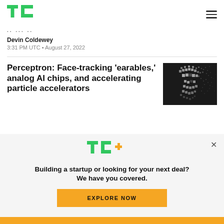TechCrunch
Devin Coldewey
3:31 PM UTC • August 27, 2022
Perceptron: Face-tracking 'earables,' analog AI chips, and accelerating particle accelerators
[Figure (photo): Digital/pixelated face breaking apart on black background]
[Figure (logo): TC+ logo with green TC and yellow plus sign]
Building a startup or looking for your next deal? We have you covered.
EXPLORE NOW